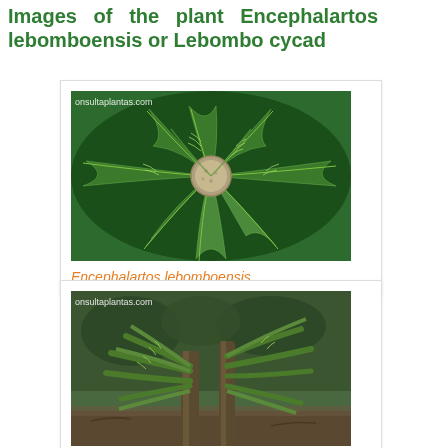Images of the plant Encephalartos lebomboensis or Lebombo cycad
[Figure (photo): Top-down view of Encephalartos lebomboensis cycad plant showing radiating fronds and central trunk, watermark: onsultaplantas.com]
Encephalartos lebomboensis
[Figure (photo): Side view of Encephalartos lebomboensis cycad plant showing full fronds and trunk in garden setting, watermark: onsultaplantas.com]